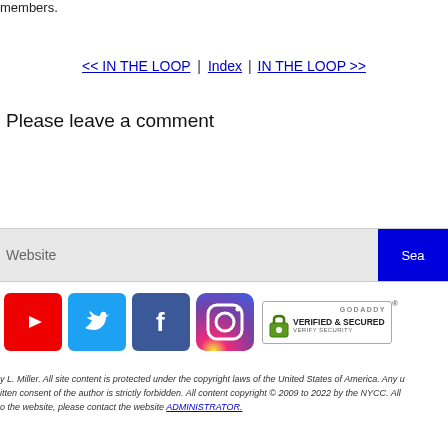members.
<< IN THE LOOP  |  Index |  IN THE LOOP >>
Please leave a comment
Website
Sea
[Figure (logo): YouTube, Twitter, Facebook, Instagram social media icons and GoDaddy Verified & Secured badge]
y L. Miller. All site content is protected under the copyright laws of the United States of America. Any u itten consent of the author is strictly forbidden. All content copyright © 2009 to 2022 by the NYCC. All o the website, please contact the website ADMINISTRATOR.